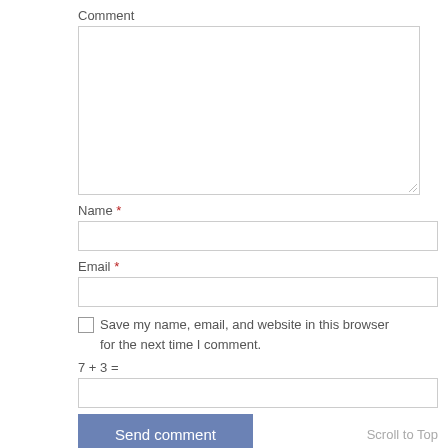Comment
[Figure (screenshot): Large empty textarea for comment input]
Name *
[Figure (screenshot): Single-line text input for Name]
Email *
[Figure (screenshot): Single-line text input for Email]
Save my name, email, and website in this browser for the next time I comment.
[Figure (screenshot): Single-line text input for math answer]
Send comment
Scroll to Top